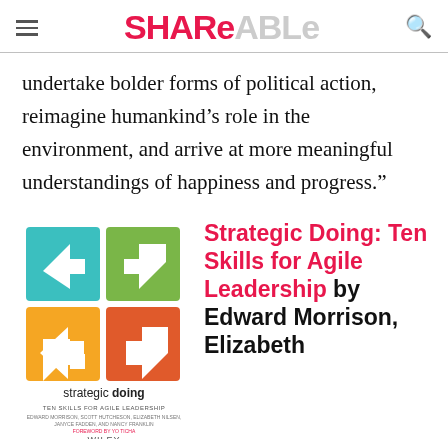SHAReaBLe
undertake bolder forms of political action, reimagine humankind’s role in the environment, and arrive at more meaningful understandings of happiness and progress.”
[Figure (illustration): Book cover of 'Strategic Doing: Ten Skills for Agile Leadership' showing four colorful arrow icons in teal, green, orange, and red arranged in a 2x2 grid, published by Wiley.]
Strategic Doing: Ten Skills for Agile Leadership by Edward Morrison, Elizabeth